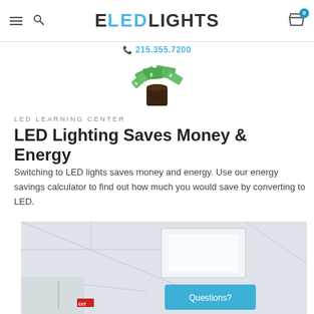ELEDLIGHTS — 215.355.7200
[Figure (illustration): Illustration of a pot or mug overflowing with dollar bill notes, representing money savings]
LED LEARNING CENTER
LED Lighting Saves Money & Energy
Switching to LED lights saves money and energy. Use our energy savings calculator to find out how much you would save by converting to LED.
[Figure (photo): Interior photo of a room with LED panel lights installed in a drop ceiling, bright white lighting, with a Questions? overlay button in the bottom right corner]